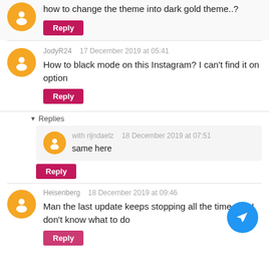how to change the theme into dark gold theme..?
Reply
JodyR24   17 December 2019 at 05:41
How to black mode on this Instagram? I can't find it on option
Reply
Replies
with rijndaelz   18 December 2019 at 07:51
same here
Reply
Heisenberg   18 December 2019 at 09:46
Man the last update keeps stopping all the time and I don't know what to do
Reply